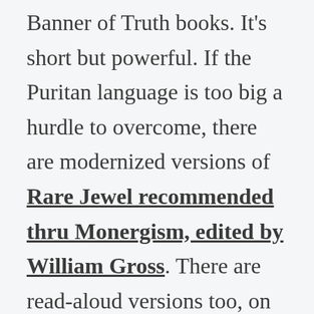Banner of Truth books. It's short but powerful. If the Puritan language is too big a hurdle to overcome, there are modernized versions of Rare Jewel recommended thru Monergism, edited by William Gross. There are read-aloud versions too, on Youtube.
Also good is Maturity by Sinclair Ferguson, a book along the same